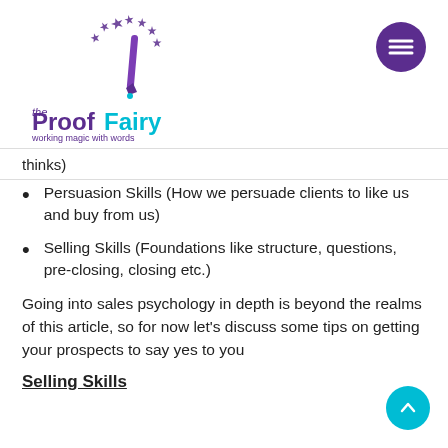[Figure (logo): The Proof Fairy logo — stylized P with stars, teal and purple lettering, tagline 'working magic with words']
thinks)
Persuasion Skills (How we persuade clients to like us and buy from us)
Selling Skills (Foundations like structure, questions, pre-closing, closing etc.)
Going into sales psychology in depth is beyond the realms of this article, so for now let's discuss some tips on getting your prospects to say yes to you
Selling Skills